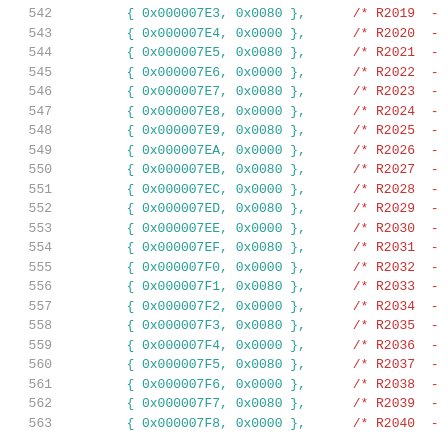Code listing lines 542-563 showing hex register initialization table entries with values and comments R2019-R2040